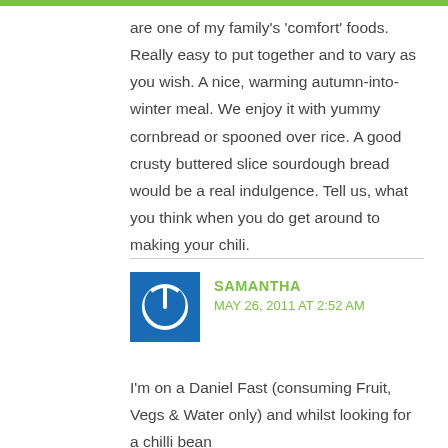are one of my family's 'comfort' foods. Really easy to put together and to vary as you wish. A nice, warming autumn-into-winter meal. We enjoy it with yummy cornbread or spooned over rice. A good crusty buttered slice sourdough bread would be a real indulgence. Tell us, what you think when you do get around to making your chili.
[Figure (logo): Blue square avatar with white power button icon]
SAMANTHA
MAY 26, 2011 AT 2:52 AM
I'm on a Daniel Fast (consuming Fruit, Vegs & Water only) and whilst looking for a chilli bean